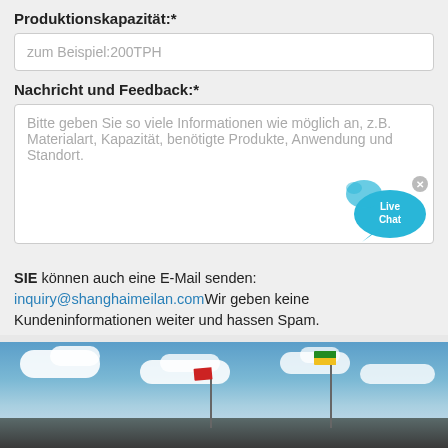Produktionskapazität:*
zum Beispiel:200TPH
Nachricht und Feedback:*
Bitte geben Sie so viele Informationen wie möglich an, z.B. Materialart, Kapazität, benötigte Produkte, Anwendung und Standort.
[Figure (illustration): Live Chat speech bubble icon with 'Live Chat' text in cyan/blue color with a close X button]
SIE können auch eine E-Mail senden: inquiry@shanghaimeilan.comWir geben keine Kundeninformationen weiter und hassen Spam.
Anfrage Senden
[Figure (photo): Photograph showing a blue sky with white clouds and industrial building rooftop with flags (red and green/yellow) on poles]